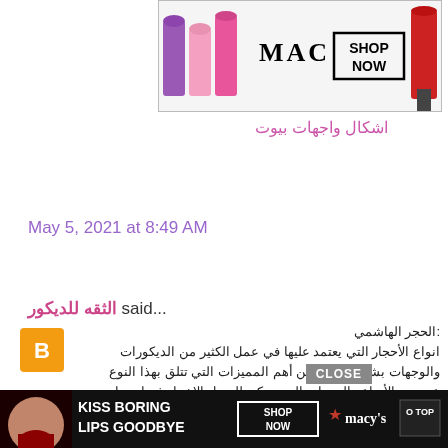[Figure (photo): MAC Cosmetics advertisement banner with lipsticks in purple, pink and red colors, MAC logo, and SHOP NOW button]
اشكال واجهات بيوت
May 5, 2021 at 8:49 AM
الثقه للديكور said...
الحجر الهاشمي:
انواع الأحجار التي يعتمد عليها في عمل الكثير من الديكورات والوجهات بشكل خاص، من أهم المميزات التي تتلق بهذا النوع عدد من الأنواع والدرجات التي يمكن للعميل الاختيار فيما بينها سواء واجهة سكنية أو واجهة مكان عمل، من أهم ما يتميز متانة لذلك يصمم من خلاله الوجهات كما يوفر عدد متنوع من اءء كافة الأذواق وبالتالي يمكنك اختيار ما يناسب بكل سهولة اذا النوع من النظافة بحيث يمكن تنظيف الحجر فقط
[Figure (photo): Macy's advertisement banner - Kiss Boring Lips Goodbye with woman face, SHOP NOW button, and TO TOP button]